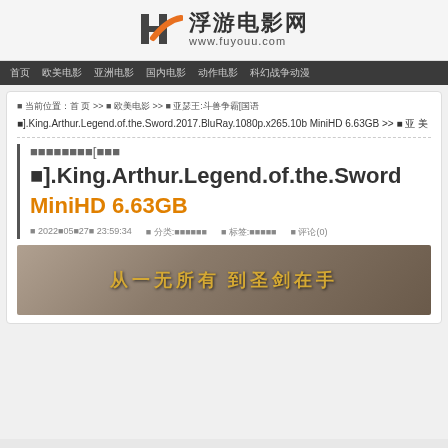[Figure (logo): 浮游电影网 logo with stylized H icon and URL www.fuyouu.com]
首页  欧美电影  亚洲电影  国内电影  动作电影  科幻战争动漫
当前位置: 首 页 >> 欧 美电影 >> 亚 瑟王:斗兽争霸[国语
].King.Arthur.Legend.of.the.Sword.2017.BluRay.1080p.x265.10b MiniHD 6.63GB >> 亚 洲 美
亚瑟王:斗兽争霸[国语
].King.Arthur.Legend.of.the.Sword
MiniHD 6.63GB
发布 2022年05月27日 23:59:34  分类 欧美电影:欧美影视  标签 欧美电影:欧美影视  评论(0)
[Figure (photo): Movie banner showing Chinese text 从一无所有 到圣剑在手 on a dark dramatic background]